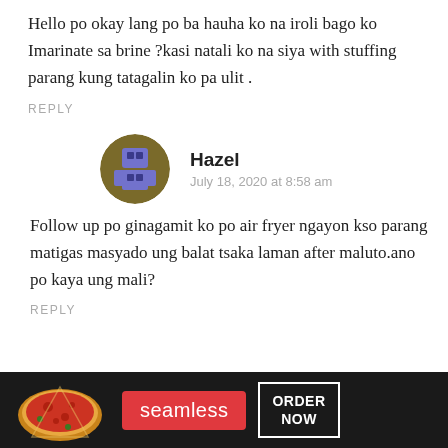Hello po okay lang po ba hauha ko na iroli bago ko Imarinate sa brine ?kasi natali ko na siya with stuffing parang kung tatagalin ko pa ulit .
REPLY
Hazel
July 18, 2020 at 8:58 am
Follow up po ginagamit ko po air fryer ngayon kso parang matigas masyado ung balat tsaka laman after maluto.ano po kaya ung mali?
REPLY
[Figure (screenshot): Seamless food delivery advertisement banner with pizza image, red Seamless logo badge, and ORDER NOW button on dark background with CLOSE button above]